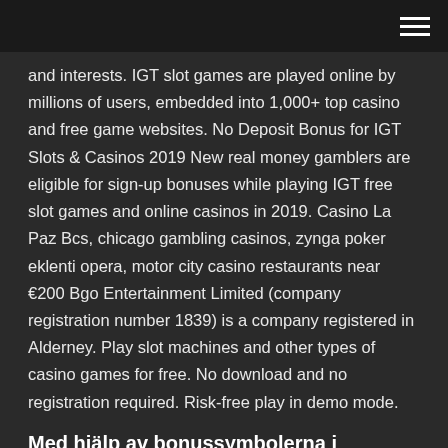and interests. IGT slot games are played online by millions of users, embedded into 1,000+ top casino and free game websites. No Deposit Bonus for IGT Slots & Casinos 2019 New real money gamblers are eligible for sign-up bonuses while playing IGT free slot games and online casinos in 2019. Casino La Paz Bcs, chicago gambling casinos, zynga poker eklenti opera, motor city casino restaurants near €200 Bgo Entertainment Limited (company registration number 1839) is a company registered in Alderney. Play slot machines and other types of casino games for free. No download and no registration required. Risk-free play in demo mode.
Med hjälp av bonussymbolerna i